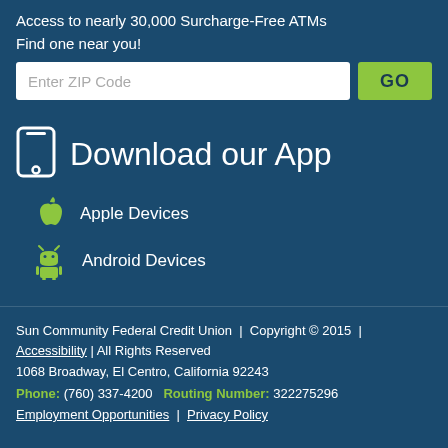Access to nearly 30,000 Surcharge-Free ATMs
Find one near you!
[Figure (screenshot): ZIP code input field with placeholder 'Enter ZIP Code' and a green GO button]
Download our App
Apple Devices
Android Devices
Sun Community Federal Credit Union | Copyright © 2015 | Accessibility | All Rights Reserved
1068 Broadway, El Centro, California 92243
Phone: (760) 337-4200  Routing Number: 322275296
Employment Opportunities | Privacy Policy